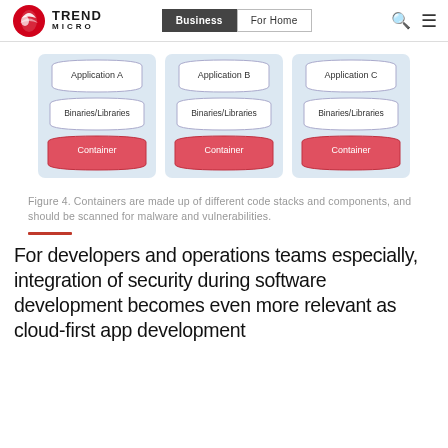Trend Micro | Business | For Home
[Figure (illustration): Three container diagrams side by side, each showing a stack with Application layer (white rounded trapezoid), Binaries/Libraries layer (white rounded shape), and Container layer (red rounded trapezoid). Applications are labeled A, B, and C respectively.]
Figure 4. Containers are made up of different code stacks and components, and should be scanned for malware and vulnerabilities.
For developers and operations teams especially, integration of security during software development becomes even more relevant as cloud-first app development